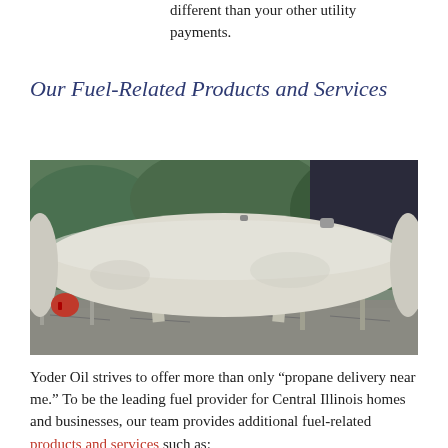different than your other utility payments.
Our Fuel-Related Products and Services
[Figure (photo): A large white horizontal propane storage tank sitting on metal supports outdoors, with green foliage in the background and a metal railing visible on the left side.]
Yoder Oil strives to offer more than only “propane delivery near me.” To be the leading fuel provider for Central Illinois homes and businesses, our team provides additional fuel-related products and services such as: